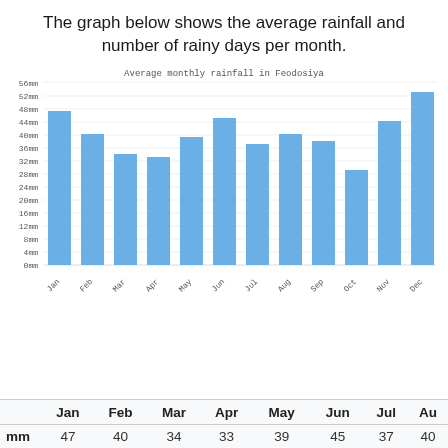The graph below shows the average rainfall and number of rainy days per month.
[Figure (bar-chart): Average monthly rainfall in Feodosiya]
|  | Jan | Feb | Mar | Apr | May | Jun | Jul | Au |
| --- | --- | --- | --- | --- | --- | --- | --- | --- |
| mm | 47 | 40 | 34 | 33 | 39 | 45 | 37 | 40 |